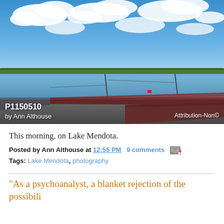[Figure (photo): Photograph of Lake Mendota showing a dock/pier extending into calm blue water, with a blue sky full of white clouds and a treeline on the far shore. Caption overlay: 'P1150510' by Ann Althouse, Attribution-Non[commercial]]
This morning, on Lake Mendota.
Posted by Ann Althouse at 12:55 PM   9 comments
Tags: Lake Mendota, photography
"As a psychoanalyst, a blanket rejection of the possibili